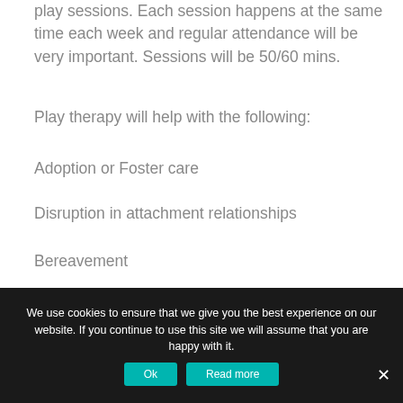play sessions. Each session happens at the same time each week and regular attendance will be very important. Sessions will be 50/60 mins.
Play therapy will help with the following:
Adoption or Foster care
Disruption in attachment relationships
Bereavement
Hospitalization
Domestic Violence
We use cookies to ensure that we give you the best experience on our website. If you continue to use this site we will assume that you are happy with it.